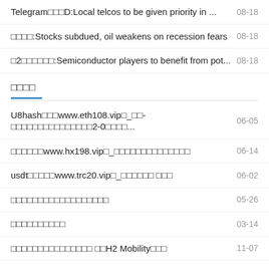Telegram□□□D:Local telcos to be given priority in ... 08-18
□□□□:Stocks subdued, oil weakens on recession fears 08-18
□2□□□□□□:Semiconductor players to benefit from pot... 08-18
□□□□
U8hash□□□www.eth108.vip□_□□-□□□□□□□□□□□□□□□2-0□□□□... 06-05
□□□□□□www.hx198.vip□_□□□□□□□□□□□□□□ 06-14
usdt□□□□□www.trc20.vip□_□□□□□□ □□□ 06-02
□□□□□□□□□□□□□□□□□□ 05-26
□□□□□□□□□□ 03-14
□□□□□□□□□□□□□□□ □□H2 Mobility□□□ 11-07
□□□shang□□□"cai"□□□tai□□"pai"□□ming□□www.99cx.vip□... 06-18
14□□□□□□□□□□□□□□□□□□ 05-14
□□□ □□□□□□□□□□□□□ 05-29
allhat□□□□www.al-hot9.vip□_□□"□"□□...  07-□□